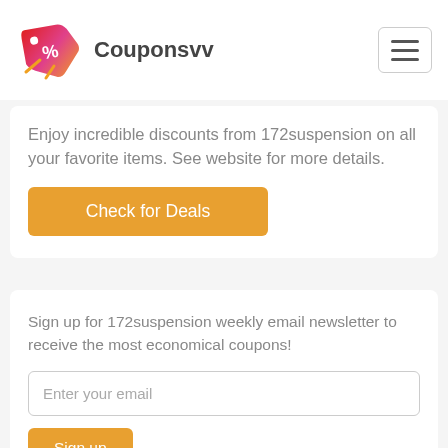Couponsvv
Enjoy incredible discounts from 172suspension on all your favorite items. See website for more details.
Check for Deals
Sign up for 172suspension weekly email newsletter to receive the most economical coupons!
Enter your email
Sign up
I hereby agree process my e-mail address data, used for "subscription" services. Read our Privacy Policy or contact us on for more details.